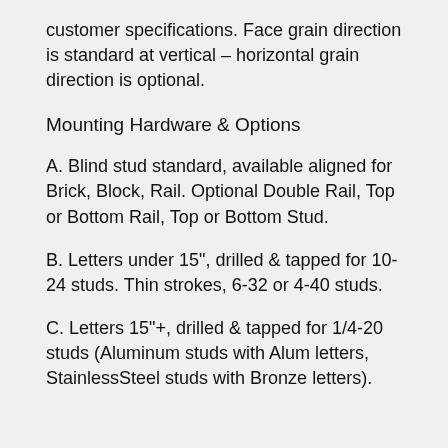customer specifications. Face grain direction is standard at vertical – horizontal grain direction is optional.
Mounting Hardware & Options
A. Blind stud standard, available aligned for Brick, Block, Rail. Optional Double Rail, Top or Bottom Rail, Top or Bottom Stud.
B. Letters under 15", drilled & tapped for 10-24 studs. Thin strokes, 6-32 or 4-40 studs.
C. Letters 15"+, drilled & tapped for 1/4-20 studs (Aluminum studs with Alum letters, StainlessSteel studs with Bronze letters).